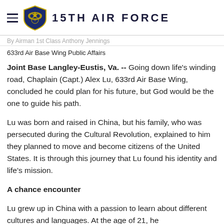15TH AIR FORCE
By Airman 1st Class Anthony Jennings
633rd Air Base Wing Public Affairs
Joint Base Langley-Eustis, Va. --  Going down life's winding road, Chaplain (Capt.) Alex Lu, 633rd Air Base Wing, concluded he could plan for his future, but God would be the one to guide his path.
Lu was born and raised in China, but his family, who was persecuted during the Cultural Revolution, explained to him they planned to move and become citizens of the United States. It is through this journey that Lu found his identity and life’s mission.
A chance encounter
Lu grew up in China with a passion to learn about different cultures and languages. At the age of 21, he